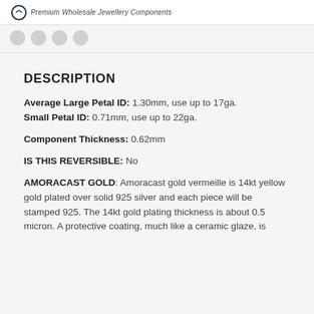Premium Wholesale Jewellery Components
DESCRIPTION
Average Large Petal ID: 1.30mm, use up to 17ga.
Small Petal ID: 0.71mm, use up to 22ga.
Component Thickness: 0.62mm
IS THIS REVERSIBLE: No
AMORACASTGOLD: Amoracast gold vermeille is 14kt yellow gold plated over solid 925 silver and each piece will be stamped 925. The 14kt gold plating thickness is about 0.5 micron. A protective coating, much like a ceramic glaze, is